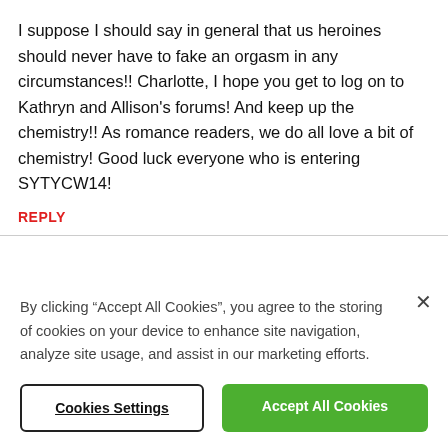I suppose I should say in general that us heroines should never have to fake an orgasm in any circumstances!! Charlotte, I hope you get to log on to Kathryn and Allison's forums! And keep up the chemistry!! As romance readers, we do all love a bit of chemistry! Good luck everyone who is entering SYTYCW14!
REPLY
By clicking “Accept All Cookies”, you agree to the storing of cookies on your device to enhance site navigation, analyze site usage, and assist in our marketing efforts.
Cookies Settings
Accept All Cookies